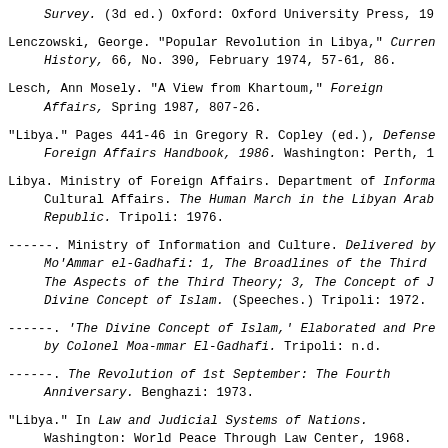Survey. (3d ed.) Oxford: Oxford University Press, 19[xx].
Lenczowski, George. "Popular Revolution in Libya," Current History, 66, No. 390, February 1974, 57-61, 86.
Lesch, Ann Mosely. "A View from Khartoum," Foreign Affairs, Spring 1987, 807-26.
"Libya." Pages 441-46 in Gregory R. Copley (ed.), Defense & Foreign Affairs Handbook, 1986. Washington: Perth, 1[9xx].
Libya. Ministry of Foreign Affairs. Department of Information and Cultural Affairs. The Human March in the Libyan Arab Republic. Tripoli: 1976.
------. Ministry of Information and Culture. Delivered by Mo'Ammar el-Gadhafi: 1, The Broadlines of the Third Theory; 2, The Aspects of the Third Theory; 3, The Concept of J.; 4, The Divine Concept of Islam. (Speeches.) Tripoli: 1972.
------. 'The Divine Concept of Islam,' Elaborated and Presented by Colonel Moa-mmar El-Gadhafi. Tripoli: n.d.
------. The Revolution of 1st September: The Fourth Anniversary. Benghazi: 1973.
"Libya." In Law and Judicial Systems of Nations. Washington: World Peace Through Law Center, 1968.
"Libya: A Revolution in Search of an Ideology," Africa [continues]